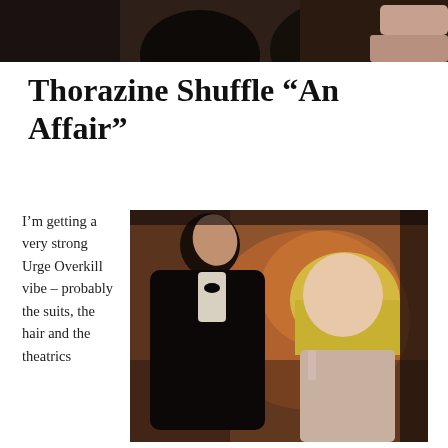[Figure (photo): Dark top banner photo showing partial figures against dark background]
Thorazine Shuffle “An Affair”
[Figure (photo): Photo of two people facing each other — a man in a dark suit looking upward and a woman with blonde bob hair, against a warm brown/orange background]
I’m getting a very strong Urge Overkill vibe – probably the suits, the hair and the theatrics